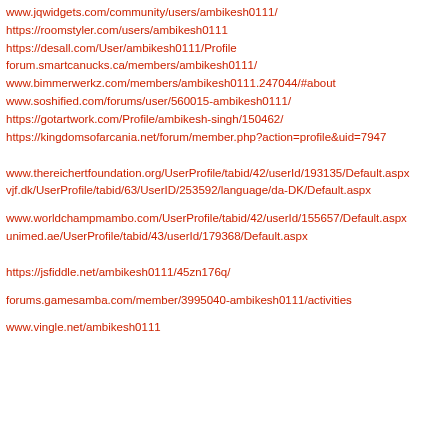www.jqwidgets.com/community/users/ambikesh0111/
https://roomstyler.com/users/ambikesh0111
https://desall.com/User/ambikesh0111/Profile
forum.smartcanucks.ca/members/ambikesh0111/
www.bimmerwerkz.com/members/ambikesh0111.247044/#about
www.soshified.com/forums/user/560015-ambikesh0111/
https://gotartwork.com/Profile/ambikesh-singh/150462/
https://kingdomsofarcania.net/forum/member.php?action=profile&uid=7947
www.thereichertfoundation.org/UserProfile/tabid/42/userId/193135/Default.aspx
vjf.dk/UserProfile/tabid/63/UserID/253592/language/da-DK/Default.aspx
www.worldchampmambo.com/UserProfile/tabid/42/userId/155657/Default.aspx
unimed.ae/UserProfile/tabid/43/userId/179368/Default.aspx
https://jsfiddle.net/ambikesh0111/45zn176q/
forums.gamesamba.com/member/3995040-ambikesh0111/activities
www.vingle.net/ambikesh0111